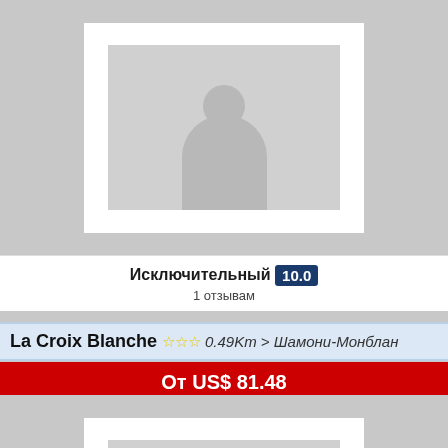[Figure (photo): Placeholder hotel image with white frame and person silhouette, gray background]
Исключительный 10.0
1 отзывам
La Croix Blanche ☆☆☆ 0.49Km > Шамони-Монблан
От US$ 81.48
[Figure (photo): Placeholder hotel image with white frame and person silhouette, gray background]
Отличный 7.9
880 отзывам